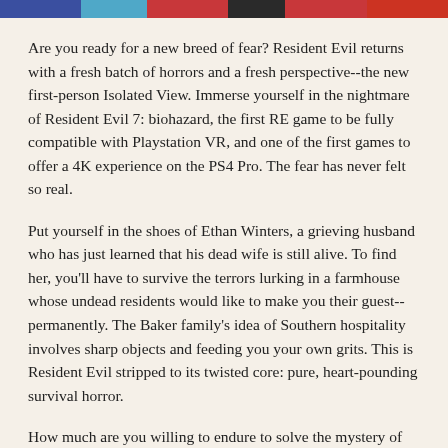[Figure (other): Horizontal color bar with segments: dark blue, light blue, red, dark gray/black, red, dark red-orange]
Are you ready for a new breed of fear? Resident Evil returns with a fresh batch of horrors and a fresh perspective--the new first-person Isolated View. Immerse yourself in the nightmare of Resident Evil 7: biohazard, the first RE game to be fully compatible with Playstation VR, and one of the first games to offer a 4K experience on the PS4 Pro. The fear has never felt so real.
Put yourself in the shoes of Ethan Winters, a grieving husband who has just learned that his dead wife is still alive. To find her, you'll have to survive the terrors lurking in a farmhouse whose undead residents would like to make you their guest--permanently. The Baker family's idea of Southern hospitality involves sharp objects and feeding you your own grits. This is Resident Evil stripped to its twisted core: pure, heart-pounding survival horror.
How much are you willing to endure to solve the mystery of Resident Evil 7? Fear comes home on January 24th.